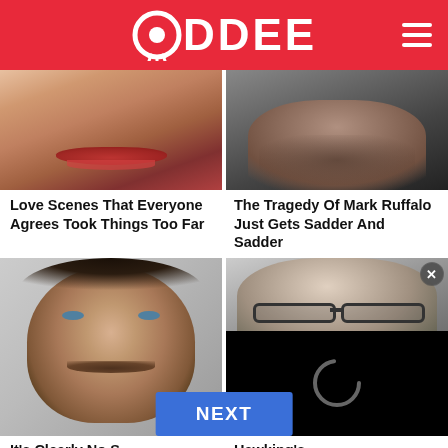ODDEE
[Figure (photo): Close-up photo of a woman's face with red lips, partial view showing lower face and chin]
[Figure (photo): Close-up photo of a man's face with stubble, partial view showing lower face]
Love Scenes That Everyone Agrees Took Things Too Far
The Tragedy Of Mark Ruffalo Just Gets Sadder And Sadder
[Figure (photo): Photo of Henry Cavill with dark curly hair and mustache]
[Figure (photo): Partially visible photo of Stephen Hawking with glasses, overlaid by a black video loading screen with spinner]
It's Clearly No S...
...Hawking's